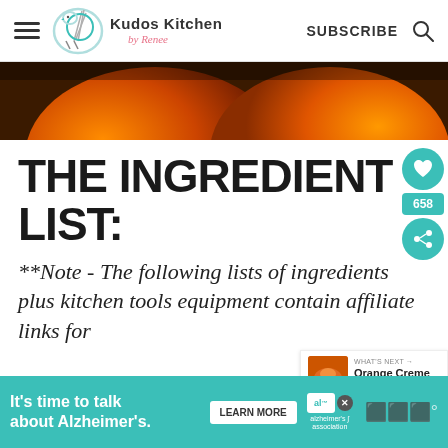Kudos Kitchen by Renee — SUBSCRIBE
[Figure (photo): Close-up photo of orange pumpkins]
THE INGREDIENT LIST:
**Note - The following lists of ingredients plus kitchen tools equipment contain affiliate links for y...
[Figure (other): Social sidebar with heart icon, count 658, and share icon in teal circles]
[Figure (other): Widget showing Orange Creme Brulee recipe thumbnail]
[Figure (other): Ad banner: It's time to talk about Alzheimer's. LEARN MORE. Alzheimer's association logo.]